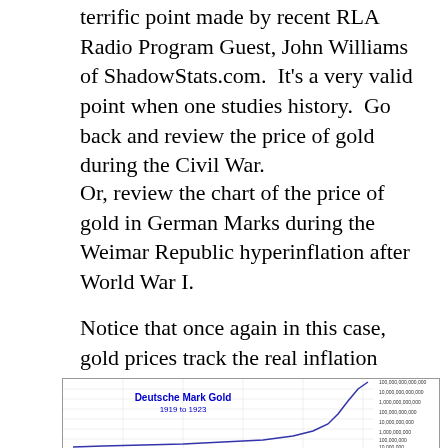terrific point made by recent RLA Radio Program Guest, John Williams of ShadowStats.com.  It's a very valid point when one studies history.  Go back and review the price of gold during the Civil War.
Or, review the chart of the price of gold in German Marks during the Weimar Republic hyperinflation after World War I.
Notice that once again in this case, gold prices track the real inflation rate.
[Figure (continuous-plot): Line chart titled 'Deutsche Mark Gold 1919 to 1923' showing exponential rise in gold price in German Marks from 1919 to 1923, with y-axis on logarithmic scale ranging from 10,000 to 100,000,000,000,000]